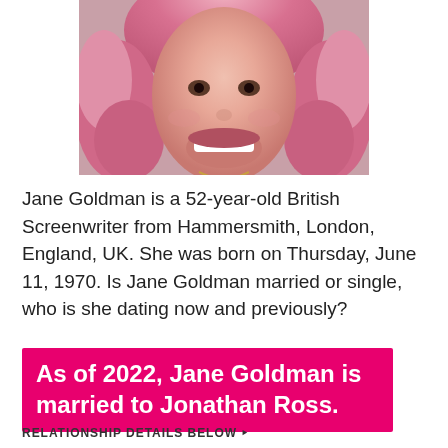[Figure (photo): Close-up photo of a woman with curly pink hair, smiling, showing teeth, wearing a necklace]
Jane Goldman is a 52-year-old British Screenwriter from Hammersmith, London, England, UK. She was born on Thursday, June 11, 1970. Is Jane Goldman married or single, who is she dating now and previously?
As of 2022, Jane Goldman is married to Jonathan Ross.
RELATIONSHIP DETAILS BELOW ↳